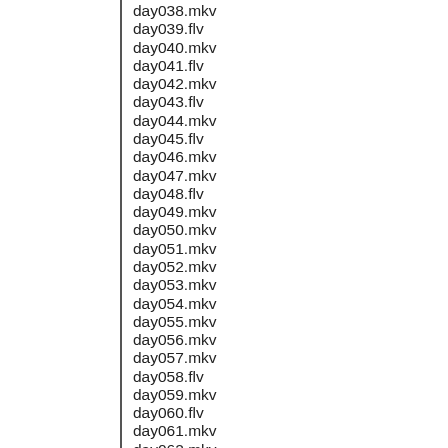day038.mkv
day039.flv
day040.mkv
day041.flv
day042.mkv
day043.flv
day044.mkv
day045.flv
day046.mkv
day047.mkv
day048.flv
day049.mkv
day050.mkv
day051.mkv
day052.mkv
day053.mkv
day054.mkv
day055.mkv
day056.mkv
day057.mkv
day058.flv
day059.mkv
day060.flv
day061.mkv
day062.mkv